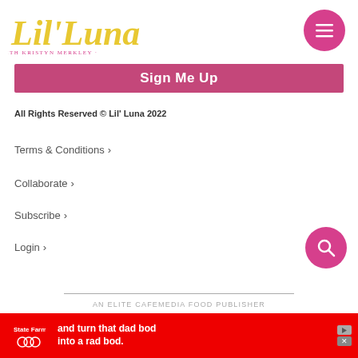[Figure (logo): Lil' Luna cursive script logo in yellow/gold with tagline 'with Kristyn Merkley' in small pink text below]
[Figure (other): Pink circular hamburger menu button with three white horizontal lines]
Sign Me Up
All Rights Reserved © Lil' Luna 2022
Terms & Conditions >
Collaborate >
Subscribe >
Login >
[Figure (other): Pink circular search/magnifying glass button]
AN ELITE CAFEMEDIA FOOD PUBLISHER
[Figure (other): State Farm advertisement banner: red background with State Farm logo and text 'and turn that dad bod into a rad bod.']